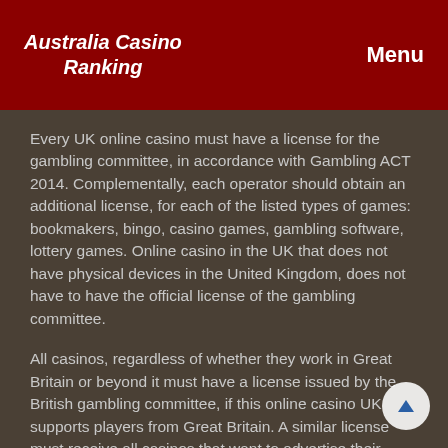Australia Casino Ranking | Menu
Every UK online casino must have a license for the gambling committee, in accordance with Gambling ACT 2014. Complementally, each operator should obtain an additional license, for each of the listed types of games: bookmakers, bingo, casino games, gambling software, lottery games. Online casino in the UK that does not have physical devices in the United Kingdom, does not have to have the official license of the gambling committee.
All casinos, regardless of whether they work in Great Britain or beyond it must have a license issued by the British gambling committee, if this online casino UK supports players from Great Britain. A similar license must receive all casinos that want to advertise their services in the territory